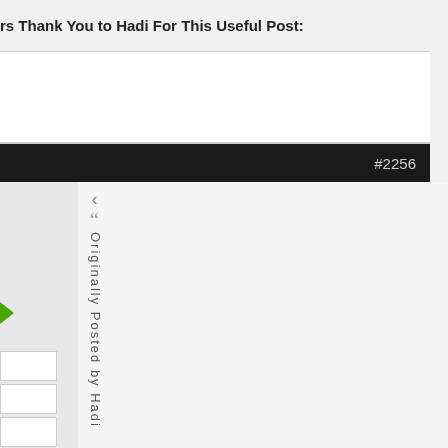rs Thank You to Hadi For This Useful Post:
#2256
Originally Posted by Hadi